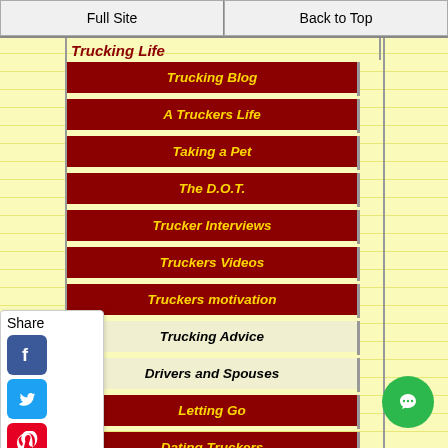Full Site | Back to Top
Trucking Life
Trucking Blog
A Truckers Life
Taking a Pet
The D.O.T.
Trucker Interviews
Truckers Videos
Truckers motivation
Trucking Advice
Drivers and Spouses
Letting Go
Dating Truckers
Marriage Problems
Dispatchers
[Figure (infographic): Share panel with social media icons: Facebook, Twitter, Pinterest, Tumblr, Reddit, WhatsApp]
[Figure (illustration): Green circular chat/message button in bottom right]